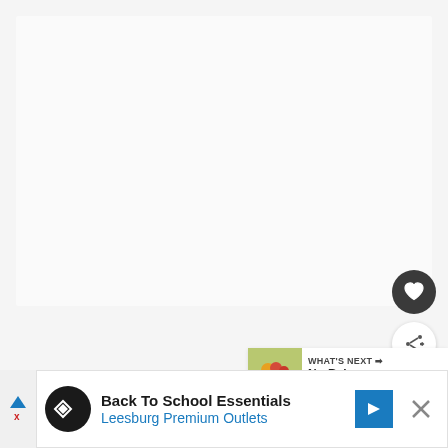[Figure (screenshot): Large white/light gray blank content area at top of a recipe website page]
[Figure (illustration): Dark circular heart/favorite button]
[Figure (illustration): White circular share button with share icon]
[Figure (screenshot): What's Next card showing a matcha dessert thumbnail with text 'WHAT'S NEXT → No-Bake Matcha...']
Recommended
[Figure (screenshot): Advertisement banner: 'Back To School Essentials Leesburg Premium Outlets' with logo, navigation icon, and close button]